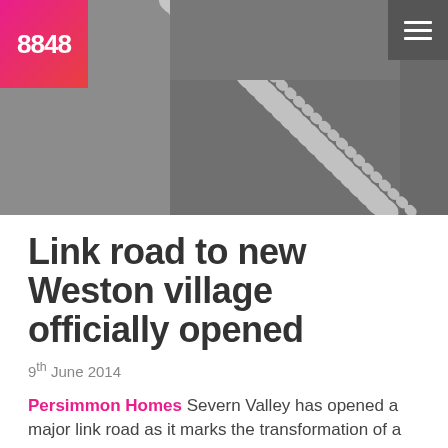[Figure (photo): Hero image showing a grey/blurred background with geometric shapes — a darker grey square and lighter grey shapes forming a diagonal striped band across the image. A pink-red gradient logo block with '8848' text appears in the top-left corner. A dark grey hamburger menu button appears in the top-right corner.]
Link road to new Weston village officially opened
9th June 2014
Persimmon Homes Severn Valley has opened a major link road as it marks the transformation of a former